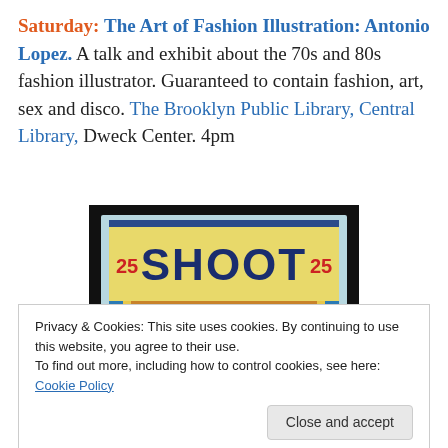Saturday: The Art of Fashion Illustration: Antonio Lopez. A talk and exhibit about the 70s and 80s fashion illustrator. Guaranteed to contain fashion, art, sex and disco. The Brooklyn Public Library, Central Library, Dweck Center. 4pm
[Figure (photo): A photo of an arcade shooting gallery machine with 'SHOOT' written in large dark blue letters on a yellow background, with red '25' markers on each side and a target bullseye pattern below.]
Privacy & Cookies: This site uses cookies. By continuing to use this website, you agree to their use.
To find out more, including how to control cookies, see here: Cookie Policy